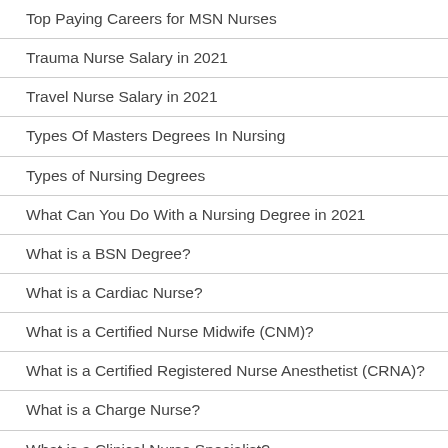Top Paying Careers for MSN Nurses
Trauma Nurse Salary in 2021
Travel Nurse Salary in 2021
Types Of Masters Degrees In Nursing
Types of Nursing Degrees
What Can You Do With a Nursing Degree in 2021
What is a BSN Degree?
What is a Cardiac Nurse?
What is a Certified Nurse Midwife (CNM)?
What is a Certified Registered Nurse Anesthetist (CRNA)?
What is a Charge Nurse?
What is a Clinical Nurse Specialist?
What is a CNA (Certified Nursing Assistant)